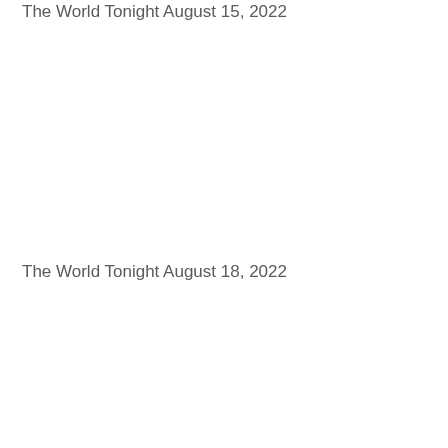The World Tonight August 15, 2022
The World Tonight August 18, 2022